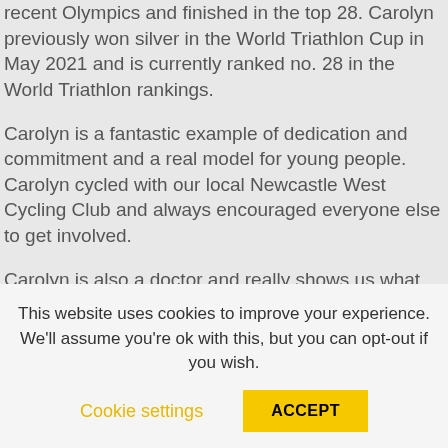recent Olympics and finished in the top 28. Carolyn previously won silver in the World Triathlon Cup in May 2021 and is currently ranked no. 28 in the World Triathlon rankings.
Carolyn is a fantastic example of dedication and commitment and a real model for young people. Carolyn cycled with our local Newcastle West Cycling Club and always encouraged everyone else to get involved.
Carolyn is also a doctor and really shows us what you can do if you are dedicated to your goals. She is a true ambassador for all women and promoting
This website uses cookies to improve your experience. We'll assume you're ok with this, but you can opt-out if you wish.
Cookie settings  ACCEPT